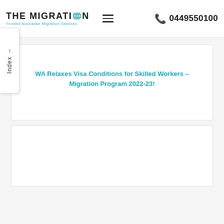THE MIGRATION — Trusted Australian Migration Services | ☰ | 📞 0449550100
↑ Index
WA Relaxes Visa Conditions for Skilled Workers – Migration Program 2022-23!
[Figure (other): Empty card/article preview box below the first card]